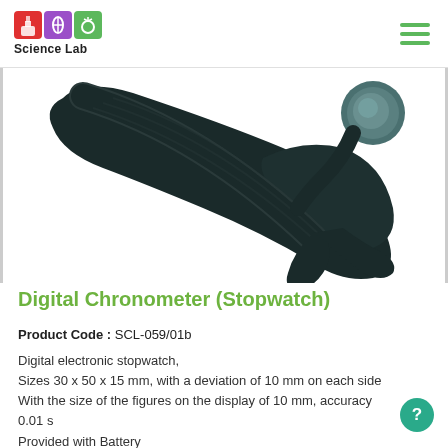Science Lab
[Figure (photo): Close-up photo of a digital chronometer/stopwatch showing the neck strap and top button area of the device against a white background]
Digital Chronometer (Stopwatch)
Product Code : SCL-059/01b
Digital electronic stopwatch, Sizes 30 x 50 x 15 mm, with a deviation of 10 mm on each side With the size of the figures on the display of 10 mm, accuracy 0.01 s Provided with Battery